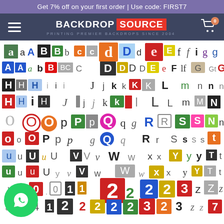Get 7% off on your first order | Use code: FIRST7
[Figure (logo): Backdrop Source logo with hamburger menu and cart icon on dark navy navigation bar]
[Figure (photo): Colorful collage of cut-out alphabet letters and numbers in various fonts, sizes, and colors arranged in a grid pattern on white background, resembling newspaper cutout letters]